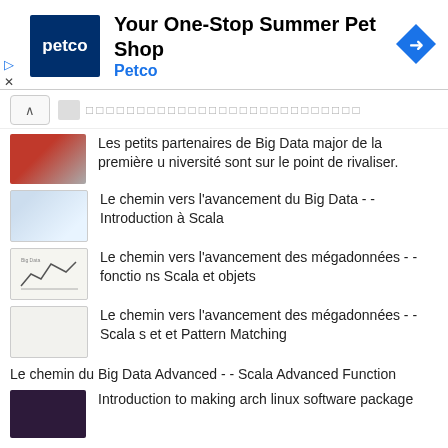[Figure (screenshot): Petco advertisement banner: 'Your One-Stop Summer Pet Shop - Petco' with Petco logo and navigation arrow icon]
Les petits partenaires de Big Data major de la première université sont sur le point de rivaliser.
Le chemin vers l'avancement du Big Data - - Introduction à Scala
Le chemin vers l'avancement des mégadonnées - - fonctions Scala et objets
Le chemin vers l'avancement des mégadonnées - - Scala set et Pattern Matching
Le chemin du Big Data Advanced - - Scala Advanced Function
Introduction to making arch linux software package